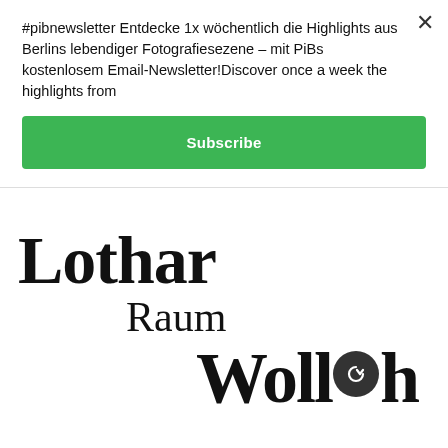#pibnewsletter Entdecke 1x wöchentlich die Highlights aus Berlins lebendiger Fotografiesezene – mit PiBs kostenlosem Email-Newsletter!Discover once a week the highlights from
Subscribe
[Figure (logo): Lothar Raum Wolleh logo in large serif typeface with a circular arrow icon embedded in the word Wolleh]